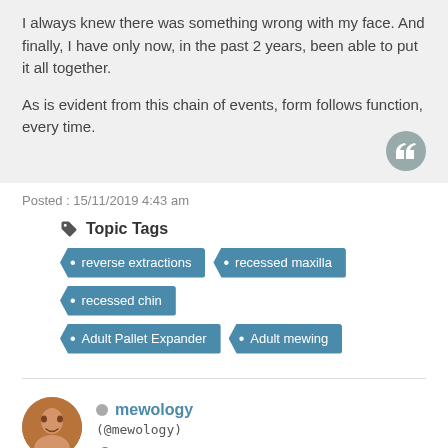I always knew there was something wrong with my face. And finally, I have only now, in the past 2 years, been able to put it all together.
As is evident from this chain of events, form follows function, every time.
Posted : 15/11/2019 4:43 am
Topic Tags
reverse extractions
recessed maxilla
recessed chin
Adult Pallet Expander
Adult mewing
mewology (@mewology)